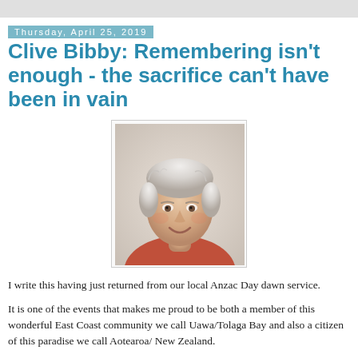Thursday, April 25, 2019
Clive Bibby: Remembering isn't enough - the sacrifice can't have been in vain
[Figure (photo): Headshot photo of Clive Bibby, an elderly man with white/grey hair, smiling, wearing a red/orange shirt]
I write this having just returned from our local Anzac Day dawn service.
It is one of the events that makes me proud to be both a member of this wonderful East Coast community we call Uawa/Tolaga Bay and also a citizen of this paradise we call Aotearoa/ New Zealand.
When I grew up in Central Hawkes Bay this annual commemoration of our part in the world's major conflicts was a